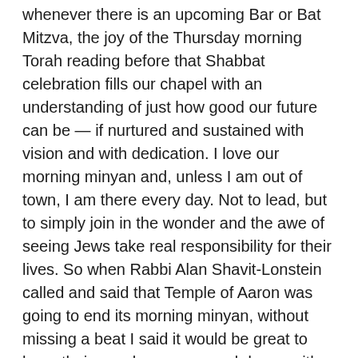whenever there is an upcoming Bar or Bat Mitzva, the joy of the Thursday morning Torah reading before that Shabbat celebration fills our chapel with an understanding of just how good our future can be — if nurtured and sustained with vision and with dedication. I love our morning minyan and, unless I am out of town, I am there every day. Not to lead, but to simply join in the wonder and the awe of seeing Jews take real responsibility for their lives. So when Rabbi Alan Shavit-Lonstein called and said that Temple of Aaron was going to end its morning minyan, without missing a beat I said it would be great to have their members come and daven with us. I also suggested that as we think about strengthening the St. Paul Jewish community, the fact that the Temple of Aaron has a long-standing evening minyan and we have only a minyan on Monday and Thursday evenings might provide us with an opportunity to create an East Metro